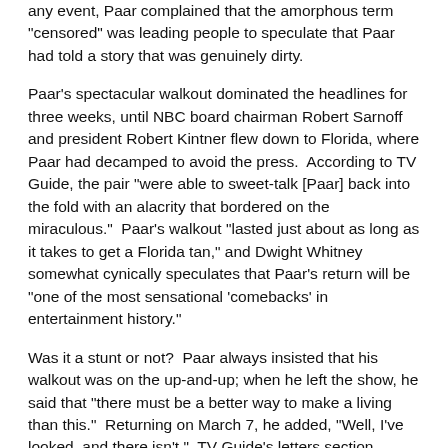any event, Paar complained that the amorphous term "censored" was leading people to speculate that Paar had told a story that was genuinely dirty.
Paar's spectacular walkout dominated the headlines for three weeks, until NBC board chairman Robert Sarnoff and president Robert Kintner flew down to Florida, where Paar had decamped to avoid the press.  According to TV Guide, the pair "were able to sweet-talk [Paar] back into the fold with an alacrity that bordered on the miraculous."  Paar's walkout "lasted just about as long as it takes to get a Florida tan," and Dwight Whitney somewhat cynically speculates that Paar's return will be "one of the most sensational 'comebacks' in entertainment history."
Was it a stunt or not?  Paar always insisted that his walkout was on the up-and-up; when he left the show, he said that "there must be a better way to make a living than this."  Returning on March 7, he added, "Well, I've looked, and there isn't."  TV Guide's letters section presents a cross-section of viewer mail; the editors noted that 78% was pro-Paar, 22% anti-Paar.  Interestingly, the listings for Tonight